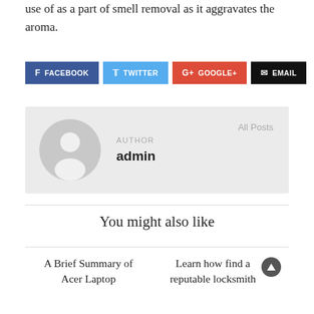use of as a part of smell removal as it aggravates the aroma.
[Figure (infographic): Social sharing buttons: Facebook (dark blue), Twitter (light blue), Google+ (red), Email (black)]
[Figure (infographic): Author box with avatar placeholder image, label AUTHOR, name admin, and All Posts link]
You might also like
A Brief Summary of Acer Laptop
Learn how find a reputable locksmith